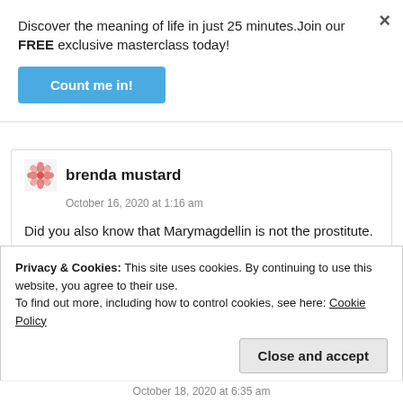Discover the meaning of life in just 25 minutes.Join our FREE exclusive masterclass today!
Count me in!
×
brenda mustard
October 16, 2020 at 1:16 am
Did you also know that Marymagdellin is not the prostitute. I figured that out on my own at age 11 or 12.
★ Like
Privacy & Cookies: This site uses cookies. By continuing to use this website, you agree to their use.
To find out more, including how to control cookies, see here: Cookie Policy
Close and accept
October 18, 2020 at 6:35 am